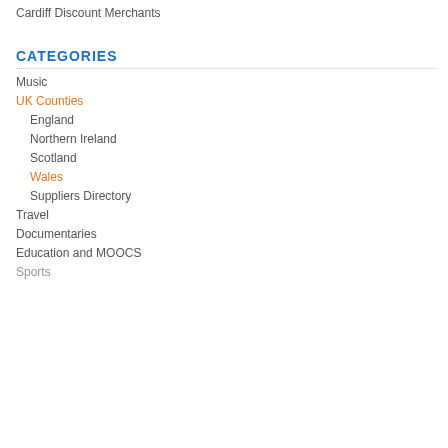Cardiff Discount Merchants
CATEGORIES
Music
UK Counties
England
Northern Ireland
Scotland
Wales
Suppliers Directory
Travel
Documentaries
Education and MOOCS
Sports